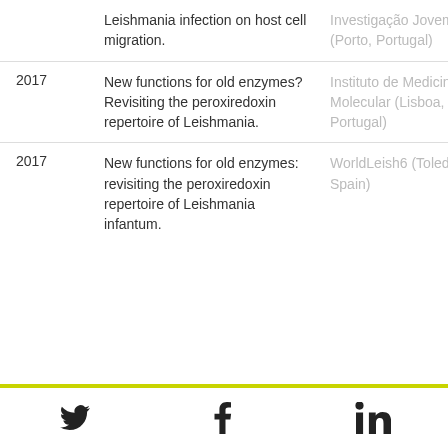| Year | Title | Venue |
| --- | --- | --- |
|  | Leishmania infection on host cell migration. | Investigação Jovem.
(Porto, Portugal) |
| 2017 | New functions for old enzymes? Revisiting the peroxiredoxin repertoire of Leishmania. | Instituto de Medicina Molecular
(Lisboa, Portugal) |
| 2017 | New functions for old enzymes: revisiting the peroxiredoxin repertoire of Leishmania infantum. | WorldLeish6
(Toledo, Spain) |
[Twitter] [Facebook] [LinkedIn]